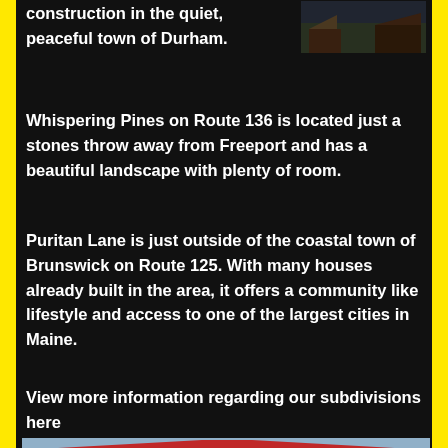construction in the quiet, peaceful town of Durham.
[Figure (photo): Small photo of a wooded or building scene in top right corner]
Whispering Pines on Route 136 is located just a stones throw away from Freeport and has a beautiful landscape with plenty of room.
Puritan Lane is just outside of the coastal town of Brunswick on Route 125. With many houses already built in the area, it offers a community like lifestyle and access to one of the largest cities in Maine.
View more information regarding our subdivisions here
[Figure (photo): Photo of a house with a red roof and green trees in the background]